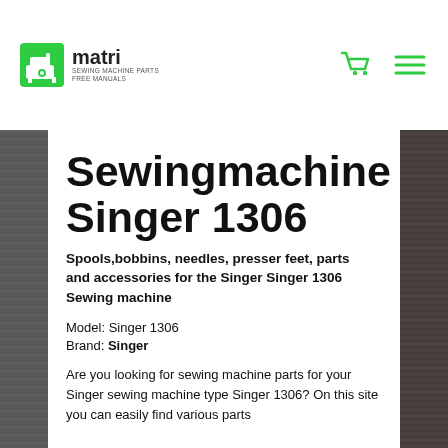matri SEWING MACHINE PARTS FREE MANUALS
Sewingmachine Singer 1306
Spools,bobbins, needles, presser feet, parts and accessories for the Singer Singer 1306 Sewing machine
Model: Singer 1306
Brand: Singer
Are you looking for sewing machine parts for your Singer sewing machine type Singer 1306? On this site you can easily find various parts